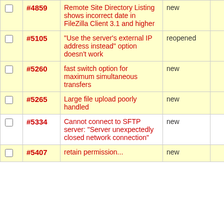|  | ID | Title | Status |  | Type |
| --- | --- | --- | --- | --- | --- |
| ☐ | #4859 | Remote Site Directory Listing shows incorrect date in FileZilla Client 3.1 and higher | new |  | Bu rep |
| ☐ | #5105 | "Use the server's external IP address instead" option doesn't work | reopened |  | Bu rep |
| ☐ | #5260 | fast switch option for maximum simultaneous transfers | new |  | Fe rec |
| ☐ | #5265 | Large file upload poorly handled | new |  | Bu rep |
| ☐ | #5334 | Cannot connect to SFTP server: "Server unexpectedly closed network connection" | new |  | Bu rep |
| ☐ | #5407 | retain permission... | new |  | Fe... |